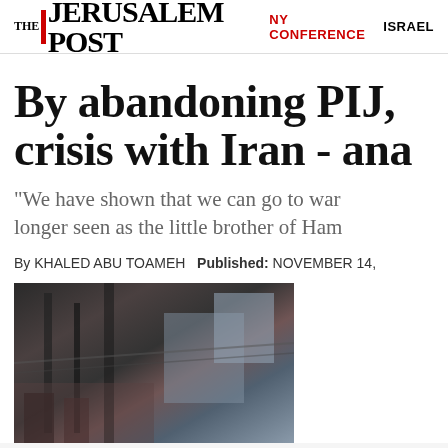THE JERUSALEM POST | NY CONFERENCE | ISRAEL
By abandoning PIJ, crisis with Iran - ana
“We have shown that we can go to war longer seen as the little brother of Ham
By KHALED ABU TOAMEH Published: NOVEMBER 14,
[Figure (photo): News article image showing what appears to be an urban street scene with buildings and infrastructure]